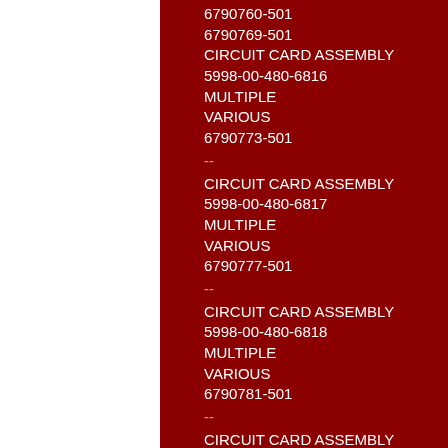6790760-501
6790769-501
CIRCUIT CARD ASSEMBLY
5998-00-480-6816
MULTIPLE
VARIOUS
6790773-501
--
CIRCUIT CARD ASSEMBLY
5998-00-480-6817
MULTIPLE
VARIOUS
6790777-501
--
CIRCUIT CARD ASSEMBLY
5998-00-480-6818
MULTIPLE
VARIOUS
6790781-501
--
CIRCUIT CARD ASSEMBLY
5998-00-480-6819
MULTIPLE